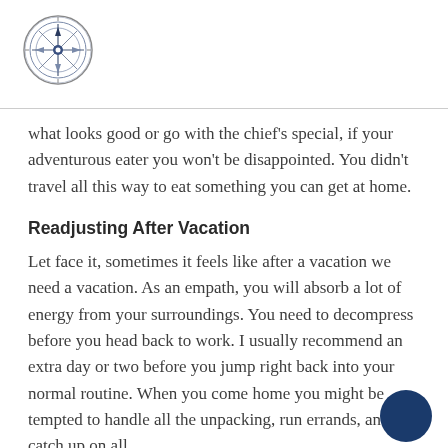[Figure (logo): Circular compass-style logo with gear/sun border, dark blue and grey tones]
what looks good or go with the chief's special, if your adventurous eater you won't be disappointed. You didn't travel all this way to eat something you can get at home.
Readjusting After Vacation
Let face it, sometimes it feels like after a vacation we need a vacation. As an empath, you will absorb a lot of energy from your surroundings. You need to decompress before you head back to work. I usually recommend an extra day or two before you jump right back into your normal routine. When you come home you might be tempted to handle all the unpacking, run errands, and catch up on all